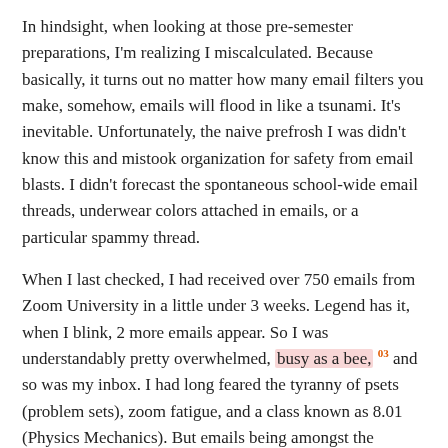In hindsight, when looking at those pre-semester preparations, I'm realizing I miscalculated. Because basically, it turns out no matter how many email filters you make, somehow, emails will flood in like a tsunami. It's inevitable. Unfortunately, the naive prefrosh I was didn't know this and mistook organization for safety from email blasts. I didn't forecast the spontaneous school-wide email threads, underwear colors attached in emails, or a particular spammy thread.
When I last checked, I had received over 750 emails from Zoom University in a little under 3 weeks. Legend has it, when I blink, 2 more emails appear. So I was understandably pretty overwhelmed, busy as a bee, [03] and so was my inbox. I had long feared the tyranny of psets (problem sets), zoom fatigue, and a class known as 8.01 (Physics Mechanics). But emails being amongst the overwhelming aspects of my freshman fall was unexpected.
As a result, I did the only logical thing: make a